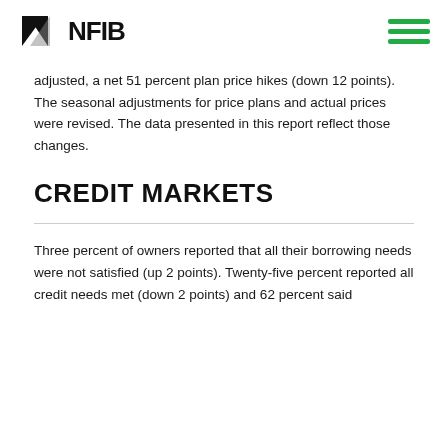NFIB
adjusted, a net 51 percent plan price hikes (down 12 points). The seasonal adjustments for price plans and actual prices were revised. The data presented in this report reflect those changes.
CREDIT MARKETS
Three percent of owners reported that all their borrowing needs were not satisfied (up 2 points). Twenty-five percent reported all credit needs met (down 2 points) and 62 percent said